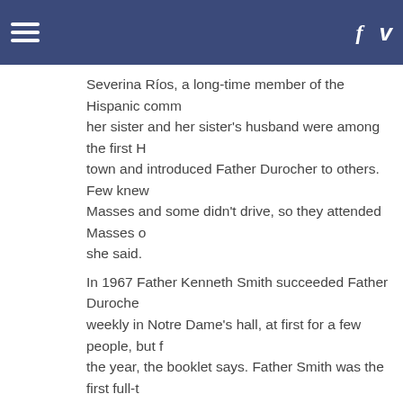☰  f  v
Severina Ríos, a long-time member of the Hispanic comm... her sister and her sister's husband were among the first H... town and introduced Father Durocher to others. Few knew... Masses and some didn't drive, so they attended Masses o... she said.
In 1967 Father Kenneth Smith succeeded Father Duroche... weekly in Notre Dame's hall, at first for a few people, but f... the year, the booklet says. Father Smith was the first full-t... Spanish apostolate in the diocese, according to a 1968 Ca... story.
Eventually Spanish Masses were held in St. Mary's Churc... succeeded by Father George Charland, an Assumptionist ... the Worcester Diocese, who ministered to Hispanics in So... years. He also served Hispanics in other towns. Father Ja... succeeded Father Charland, and was succeeded by Fathe... Father Smith came from New York for Sunday's anniversa... Ríos said. She said he spoke about "the importance of st...